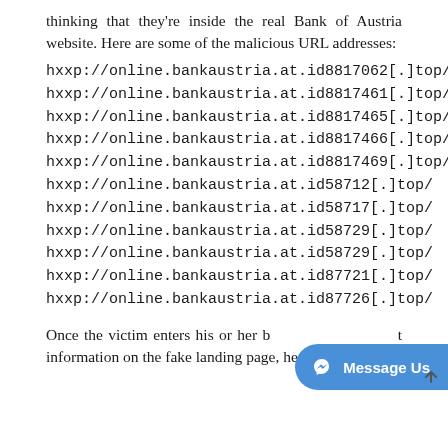thinking that they're inside the real Bank of Austria website. Here are some of the malicious URL addresses:
hxxp://online.bankaustria.at.id8817062[.]top/
hxxp://online.bankaustria.at.id8817461[.]top/
hxxp://online.bankaustria.at.id8817465[.]top/
hxxp://online.bankaustria.at.id8817466[.]top/
hxxp://online.bankaustria.at.id8817469[.]top/
hxxp://online.bankaustria.at.id58712[.]top/
hxxp://online.bankaustria.at.id58717[.]top/
hxxp://online.bankaustria.at.id58729[.]top/
hxxp://online.bankaustria.at.id58729[.]top/
hxxp://online.bankaustria.at.id87721[.]top/
hxxp://online.bankaustria.at.id87726[.]top/
Once the victim enters his or her banking information on the fake landing page, he or she is